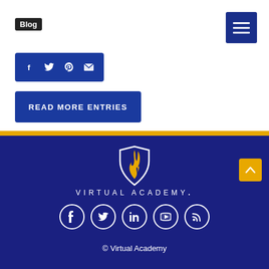Blog
[Figure (screenshot): Share bar with social icons: Facebook, Twitter, Pinterest, Email on dark blue background]
READ MORE ENTRIES
[Figure (logo): Virtual Academy logo with flame icon and text VIRTUAL ACADEMY.]
[Figure (infographic): Footer social media icons: Facebook, Twitter, LinkedIn, YouTube, RSS in white circles]
© Virtual Academy